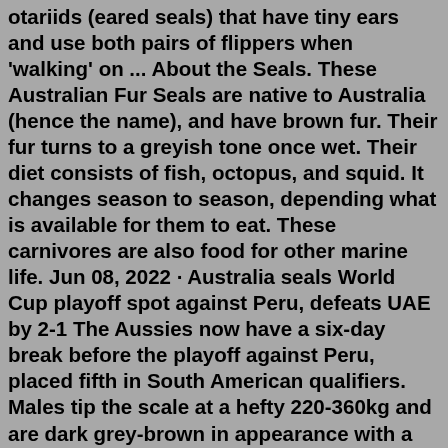otariids (eared seals) that have tiny ears and use both pairs of flippers when 'walking' on ... About the Seals. These Australian Fur Seals are native to Australia (hence the name), and have brown fur. Their fur turns to a greyish tone once wet. Their diet consists of fish, octopus, and squid. It changes season to season, depending what is available for them to eat. These carnivores are also food for other marine life. Jun 08, 2022 · Australia seals World Cup playoff spot against Peru, defeats UAE by 2-1 The Aussies now have a six-day break before the playoff against Peru, placed fifth in South American qualifiers. Males tip the scale at a hefty 220-360kg and are dark grey-brown in appearance with a pale underside, with a dark, coarse mane running over their necks and shoulders once mature. The coat of the Australian fur seal has a woolly under layer which aids in trapping in air. With the seal's layer of fat, this woolly undercoat creates a highly ... The Australian fur seal ( Arctocephalus pusillus doriferus) is the world's fourth-rarest seal species and, with its conspecific the Cape fur seal, it